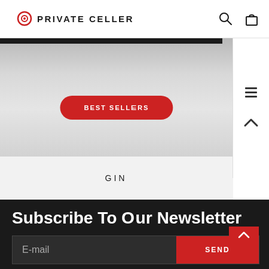[Figure (logo): Private Celler logo with circular target icon and uppercase text PRIVATE CELLER]
[Figure (screenshot): Hero banner section with dark gradient top bar and BEST SELLERS red pill button]
GIN
Subscribe To Our Newsletter
E-mail
SEND